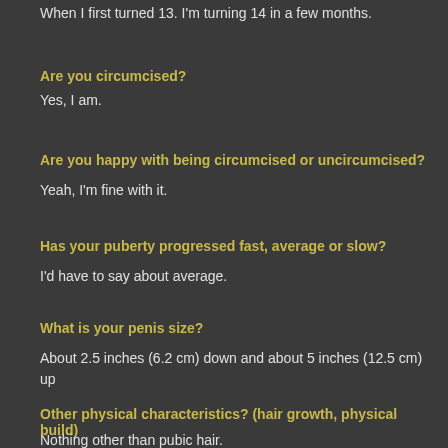When I first turned 13. I'm turning 14 in a few months.
Are you circumcised?
Yes, I am.
Are you happy with being circumcised or uncircumcised?
Yeah, I'm fine with it.
Has your puberty progressed fast, average or slow?
I'd have to say about average.
What is your penis size?
About 2.5 inches (6.2 cm) down and about 5 inches (12.5 cm) up
Other physical characteristics? (hair growth, physical build)
Nothing other than pubic hair.